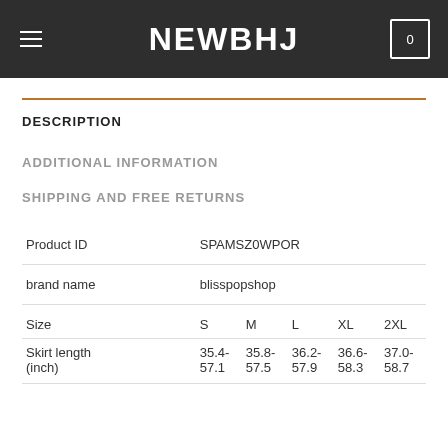NEWBHJ
DESCRIPTION
ADDITIONAL INFORMATION
SHIPPING AND FREE RETURNS
|  |  |
| --- | --- |
| Product ID | SPAMSZ0WPOR |
| brand name | blisspopshop |
| Size | S   M   L   XL   2XL |
| Skirt length (inch) | 35.4-57.1   35.8-57.5   36.2-57.9   36.6-58.3   37.0-58.7 |